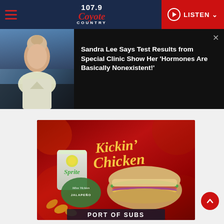107.9 Coyote Country - LISTEN
[Figure (screenshot): News article card showing a woman with blonde hair and a headline about Sandra Lee]
Sandra Lee Says Test Results from Special Clinic Show Her 'Hormones Are Basically Nonexistent!'
[Figure (illustration): Port of Subs Kickin' Chicken Bundle advertisement showing a Sprite drink, Miss Vickie's Jalapeño chips, and a chicken sub sandwich]